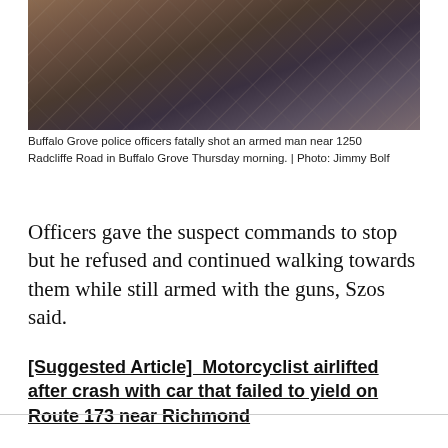[Figure (photo): Close-up photo of a dark wooden surface with grain lines and scratches, brownish-gray tones.]
Buffalo Grove police officers fatally shot an armed man near 1250 Radcliffe Road in Buffalo Grove Thursday morning. | Photo: Jimmy Bolf
Officers gave the suspect commands to stop but he refused and continued walking towards them while still armed with the guns, Szos said.
[Suggested Article]  Motorcyclist airlifted after crash with car that failed to yield on Route 173 near Richmond